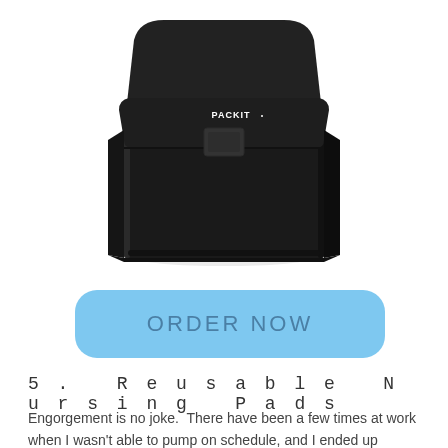[Figure (photo): Black PackIt brand insulated lunch bag with fold-over velcro flap closure, shown against white background. The bag has a rectangular base and tapers slightly at the top, with a white PACKIT logo on the front flap.]
ORDER NOW
5.  Reusable Nursing Pads
Engorgement is no joke.  There have been a few times at work when I wasn't able to pump on schedule, and I ended up leaking through my scrubs